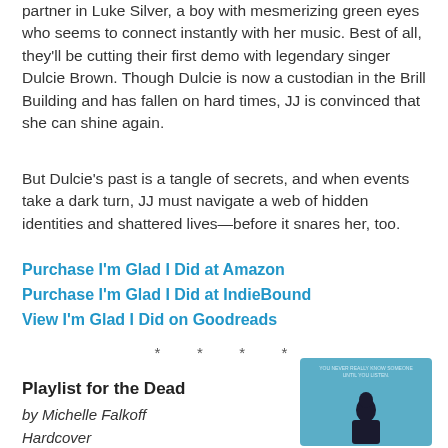partner in Luke Silver, a boy with mesmerizing green eyes who seems to connect instantly with her music. Best of all, they'll be cutting their first demo with legendary singer Dulcie Brown. Though Dulcie is now a custodian in the Brill Building and has fallen on hard times, JJ is convinced that she can shine again.
But Dulcie's past is a tangle of secrets, and when events take a dark turn, JJ must navigate a web of hidden identities and shattered lives—before it snares her, too.
Purchase I'm Glad I Did at Amazon
Purchase I'm Glad I Did at IndieBound
View I'm Glad I Did on Goodreads
* * * *
Playlist for the Dead
by Michelle Falkoff
Hardcover
HarperTeen
[Figure (photo): Book cover of Playlist for the Dead showing a silhouette of a person against a blue background with small text at the top]